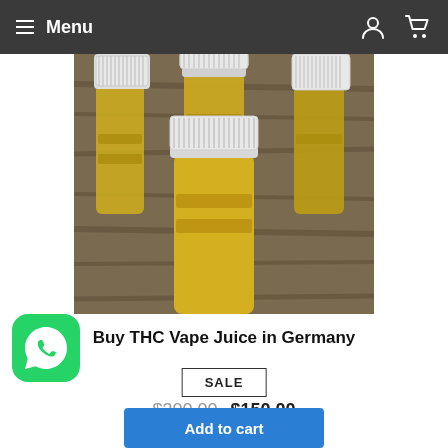Menu
[Figure (photo): Several small dropper bottles filled with golden yellow liquid (THC vape juice), arranged on a wooden surface, with white ribbed caps.]
Buy THC Vape Juice in Germany
SALE
$300.00 $150.00
Add to cart